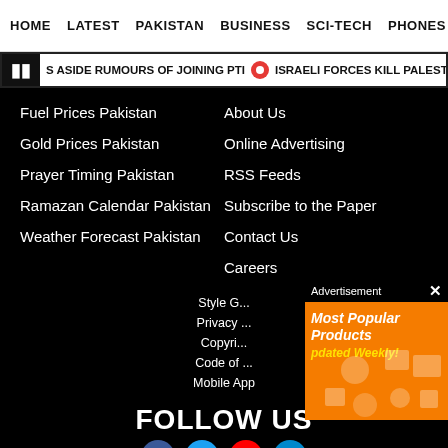HOME  LATEST  PAKISTAN  BUSINESS  SCI-TECH  PHONES  W
S ASIDE RUMOURS OF JOINING PTI  •  ISRAELI FORCES KILL PALESTINIAN MAN IN W
Fuel Prices Pakistan
Gold Prices Pakistan
Prayer Timing Pakistan
Ramazan Calendar Pakistan
Weather Forecast Pakistan
About Us
Online Advertising
RSS Feeds
Subscribe to the Paper
Contact Us
Careers
[Figure (infographic): Advertisement overlay on orange background showing 'Most Popular Products Updated Weekly!' with icons of tech/shopping items]
Style G...
Privacy ...
Copyri...
Code of ...
Mobile App
FOLLOW US
[Figure (other): Social media icons: Facebook, Twitter, YouTube, Telegram]